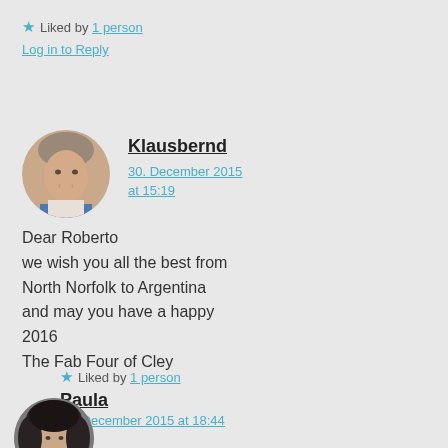★ Liked by 1 person
Log in to Reply
[Figure (photo): Circular avatar photo of Klausbernd, an older man]
Klausbernd
30. December 2015 at 15:19
Dear Roberto
we wish you all the best from North Norfolk to Argentina
and may you have a happy 2016
The Fab Four of Cley
★ Liked by 1 person
Paula
26. December 2015 at 18:44
[Figure (photo): Circular avatar photo of Paula, a woman with dark hair]